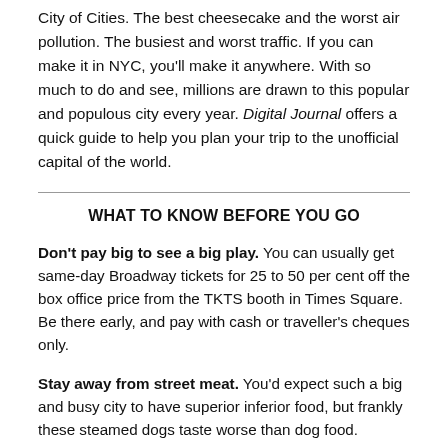City of Cities. The best cheesecake and the worst air pollution. The busiest and worst traffic. If you can make it in NYC, you'll make it anywhere. With so much to do and see, millions are drawn to this popular and populous city every year. Digital Journal offers a quick guide to help you plan your trip to the unofficial capital of the world.
WHAT TO KNOW BEFORE YOU GO
Don't pay big to see a big play. You can usually get same-day Broadway tickets for 25 to 50 per cent off the box office price from the TKTS booth in Times Square. Be there early, and pay with cash or traveller's cheques only.
Stay away from street meat. You'd expect such a big and busy city to have superior inferior food, but frankly these steamed dogs taste worse than dog food.